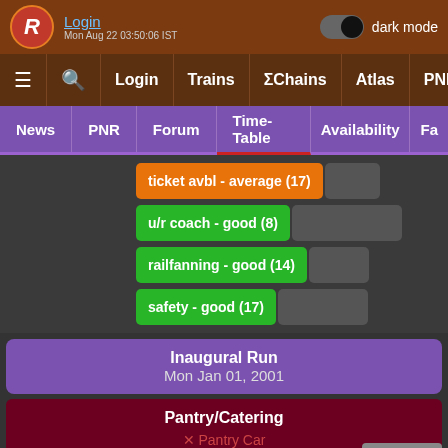Login | dark mode | Mon Aug 22 03:50:06 IST
[Figure (screenshot): Navigation bar with menu icon, search, Login, Trains, ΣChains, Atlas, PNR]
[Figure (screenshot): Sub-navigation bar with News, PNR, Forum, Time-Table (active), Availability, Fa...]
ticket avbl - average (17)
u/r coach - good (8)
railfanning - good (14)
safety - good (17)
Inaugural Run
Mon Jan 01, 2001
Pantry/Catering
✗ Pantry Car
✓ On-board Catering
✗ E-Catering
Scroll to Bottom
LHB Rake